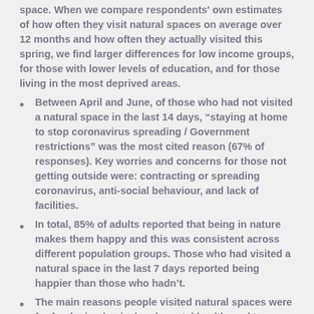space. When we compare respondents' own estimates of how often they visit natural spaces on average over 12 months and how often they actually visited this spring, we find larger differences for low income groups, for those with lower levels of education, and for those living in the most deprived areas.
Between April and June, of those who had not visited a natural space in the last 14 days, “staying at home to stop coronavirus spreading / Government restrictions” was the most cited reason (67% of responses). Key worries and concerns for those not getting outside were: contracting or spreading coronavirus, anti-social behaviour, and lack of facilities.
In total, 85% of adults reported that being in nature makes them happy and this was consistent across different population groups. Those who had visited a natural space in the last 7 days reported being happier than those who hadn’t.
The main reasons people visited natural spaces were for fresh air, physical and mental health, and to connect with wildlife/nature.
With so many people not getting out into public natural spaces during COVID-19, private gardens were,